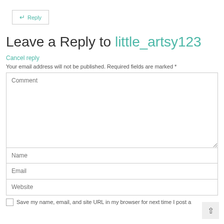← Reply
Leave a Reply to little_artsy123
Cancel reply
Your email address will not be published. Required fields are marked *
[Figure (screenshot): Web comment form with fields: Comment (textarea), Name, Email, Website, and a Save checkbox row]
Save my name, email, and site URL in my browser for next time I post a